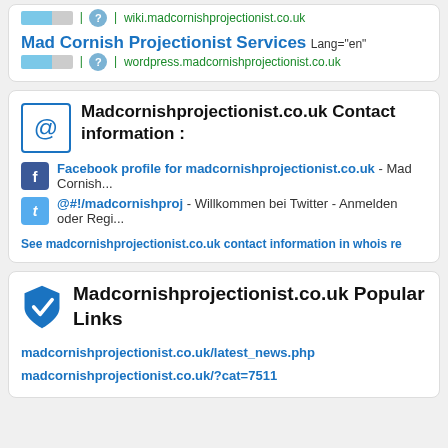wiki.madcornishprojectionist.co.uk
Mad Cornish Projectionist Services
Lang="en"
wordpress.madcornishprojectionist.co.uk
Madcornishprojectionist.co.uk Contact information :
Facebook profile for madcornishprojectionist.co.uk - Mad Cornish...
@#!/madcornishproj - Willkommen bei Twitter - Anmelden oder Regi...
See madcornishprojectionist.co.uk contact information in whois re
Madcornishprojectionist.co.uk Popular Links
madcornishprojectionist.co.uk/latest_news.php
madcornishprojectionist.co.uk/?cat=7511